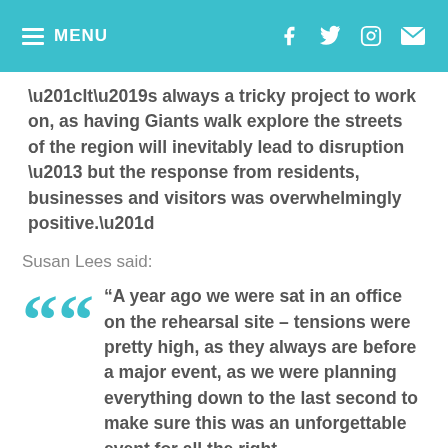MENU
“It’s always a tricky project to work on, as having Giants walk explore the streets of the region will inevitably lead to disruption – but the response from residents, businesses and visitors was overwhelmingly positive.”
Susan Lees said:
“A year ago we were sat in an office on the rehearsal site – tensions were pretty high, as they always are before a major event, as we were planning everything down to the last second to make sure this was an unforgettable event for all the right